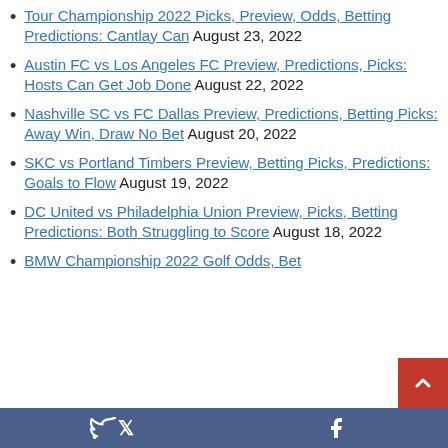Tour Championship 2022 Picks, Preview, Odds, Betting Predictions: Cantlay Can August 23, 2022
Austin FC vs Los Angeles FC Preview, Predictions, Picks: Hosts Can Get Job Done August 22, 2022
Nashville SC vs FC Dallas Preview, Predictions, Betting Picks: Away Win, Draw No Bet August 20, 2022
SKC vs Portland Timbers Preview, Betting Picks, Predictions: Goals to Flow August 19, 2022
DC United vs Philadelphia Union Preview, Picks, Betting Predictions: Both Struggling to Score August 18, 2022
BMW Championship 2022 Golf Odds, Bet…